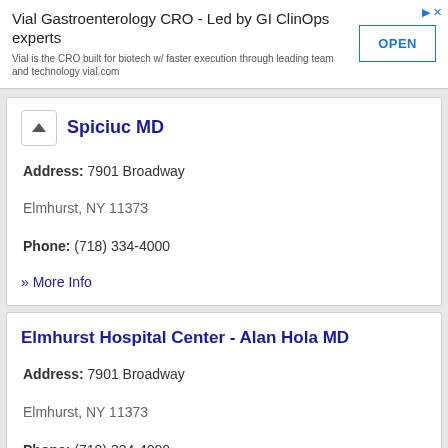[Figure (other): Advertisement banner for Vial Gastroenterology CRO with OPEN button]
Spiciuc MD
Address: 7901 Broadway
Elmhurst, NY 11373
Phone: (718) 334-4000
» More Info
Elmhurst Hospital Center - Alan Hola MD
Address: 7901 Broadway
Elmhurst, NY 11373
Phone: (718) 334-4000
» More Info